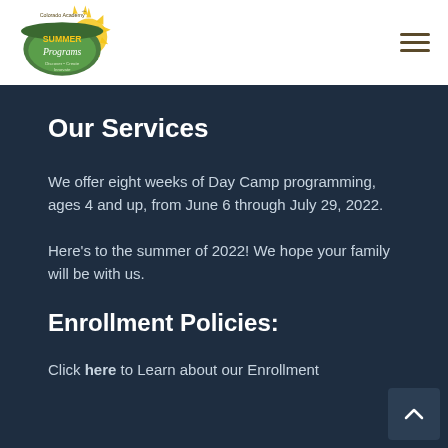Colorado Academy Summer Programs — Discover • Create Innovate
Our Services
We offer eight weeks of Day Camp programming, ages 4 and up, from June 6 through July 29, 2022.
Here's to the summer of 2022! We hope your family will be with us.
Enrollment Policies:
Click here to Learn about our Enrollment